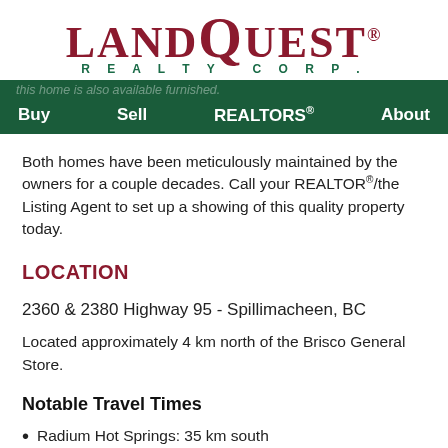[Figure (logo): LandQuest Realty Corp. logo with large red serif LANDQUEST text and green REALTY CORP. subtitle]
Buy   Sell   REALTORS®   About
Both homes have been meticulously maintained by the owners for a couple decades. Call your REALTOR®/the Listing Agent to set up a showing of this quality property today.
LOCATION
2360 & 2380 Highway 95 - Spillimacheen, BC
Located approximately 4 km north of the Brisco General Store.
Notable Travel Times
Radium Hot Springs: 35 km south